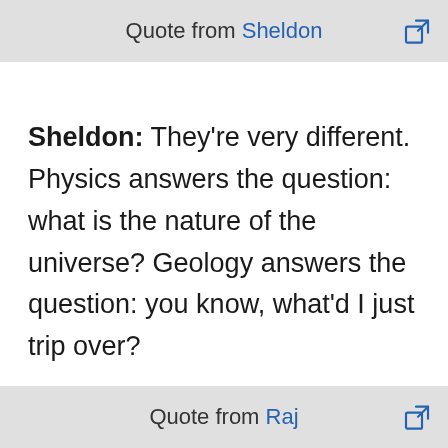Quote from Sheldon
Sheldon: They're very different. Physics answers the question: what is the nature of the universe? Geology answers the question: you know, what'd I just trip over?
Quote from Raj